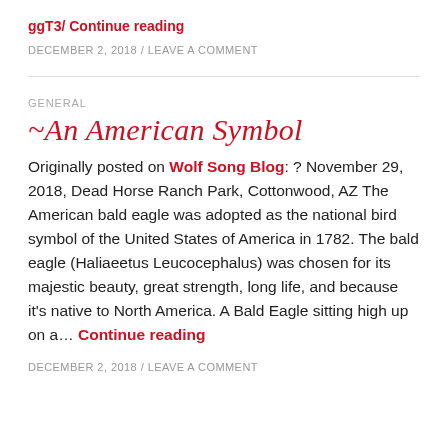ggT3/ Continue reading
DECEMBER 2, 2018 / LEAVE A COMMENT
GENERAL
~An American Symbol
Originally posted on Wolf Song Blog: ? November 29, 2018, Dead Horse Ranch Park, Cottonwood, AZ The American bald eagle was adopted as the national bird symbol of the United States of America in 1782. The bald eagle (Haliaeetus Leucocephalus) was chosen for its majestic beauty, great strength, long life, and because it’s native to North America. A Bald Eagle sitting high up on a… Continue reading
DECEMBER 2, 2018 / LEAVE A COMMENT